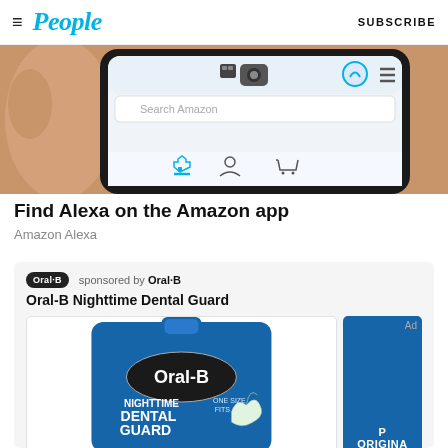People — SUBSCRIBE
[Figure (photo): Close-up photo of a hand holding a smartphone displaying the Amazon app interface with navigation icons visible]
Find Alexa on the Amazon app
Amazon Alexa
[Figure (photo): Oral-B Nighttime Dental Guard product advertisement card. Sponsored by Oral-B. Shows Oral-B Nighttime Dental Guard blue packaging with One Size Fits All label, and a partially visible blue side panel with text. Ad label visible.]